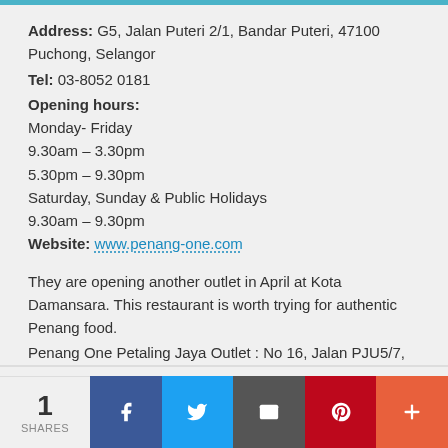Address: G5, Jalan Puteri 2/1, Bandar Puteri, 47100 Puchong, Selangor
Tel: 03-8052 0181
Opening hours:
Monday- Friday
9.30am – 3.30pm
5.30pm – 9.30pm
Saturday, Sunday & Public Holidays
9.30am – 9.30pm
Website: www.penang-one.com
They are opening another outlet in April at Kota Damansara. This restaurant is worth trying for authentic Penang food.
Penang One Petaling Jaya Outlet : No 16, Jalan PJU5/7,
1 SHARES